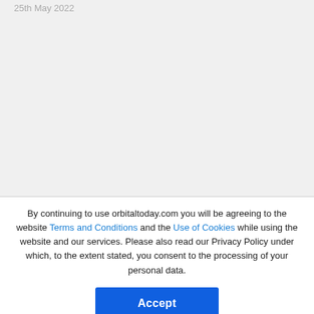25th May 2022
By continuing to use orbitaltoday.com you will be agreeing to the website Terms and Conditions and the Use of Cookies while using the website and our services. Please also read our Privacy Policy under which, to the extent stated, you consent to the processing of your personal data.
Accept